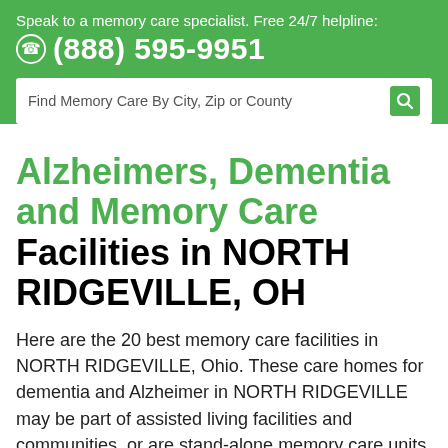Speak to a memory care specialist. Free 24/7 helpline: (888) 595-9951
Alzheimers, Dementia and Memory Care Facilities in NORTH RIDGEVILLE, OH
Here are the 20 best memory care facilities in NORTH RIDGEVILLE, Ohio. These care homes for dementia and Alzheimer in NORTH RIDGEVILLE may be part of assisted living facilities and communities, or are stand-alone memory care units. Call 888-595-9951 for details. Costs for